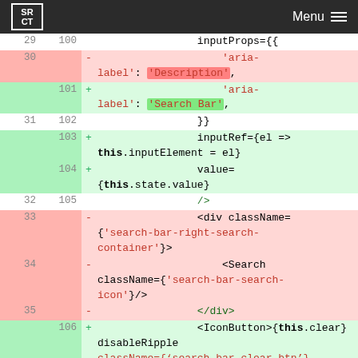SRCT | Menu
[Figure (screenshot): Code diff view showing lines 29-35 (old) and 100-106 (new) of a React component. Red lines show removed code with aria-label 'Description', div className search-bar-right-search-container, Search className search-bar-search-icon, and closing div. Green lines show added code with aria-label 'Search Bar', inputRef={el => this.inputElement = el}, value={this.state.value}, and IconButton onClick={this.clear} disableRipple.]